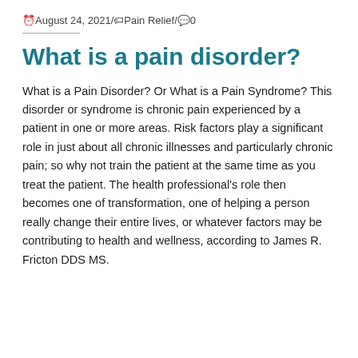August 24, 2021 / Pain Relief / 0
What is a pain disorder?
What is a Pain Disorder? Or What is a Pain Syndrome? This disorder or syndrome is chronic pain experienced by a patient in one or more areas. Risk factors play a significant role in just about all chronic illnesses and particularly chronic pain; so why not train the patient at the same time as you treat the patient. The health professional's role then becomes one of transformation, one of helping a person really change their entire lives, or whatever factors may be contributing to health and wellness, according to James R. Fricton DDS MS.